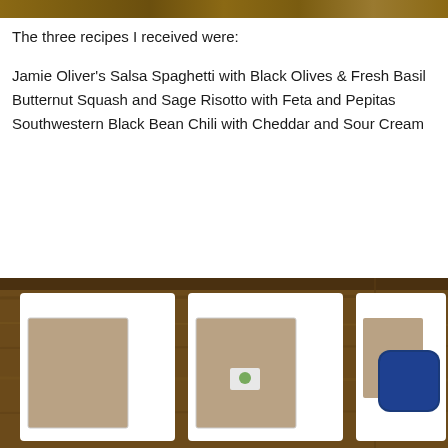[Figure (photo): Partial top strip of a photo showing a wooden/rustic brown surface]
The three recipes I received were:
Jamie Oliver's Salsa Spaghetti with Black Olives & Fresh Basil
Butternut Squash and Sage Risotto with Feta and Pepitas
Southwestern Black Bean Chili with Cheddar and Sour Cream
[Figure (photo): Photo of three white recipe card boxes with windows showing recipe cards inside, placed on a wooden/rustic surface. A blue rounded-square object is visible on the right side.]